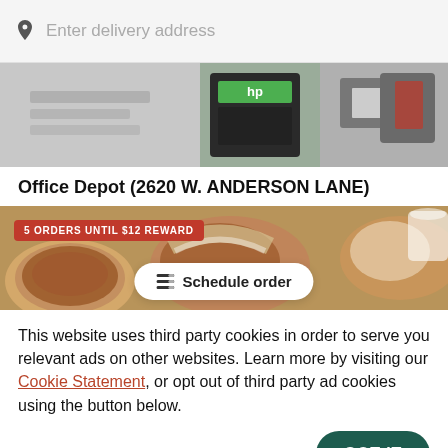Enter delivery address
[Figure (photo): Banner image showing HP ink cartridge and office supplies on a desk]
Office Depot (2620 W. ANDERSON LANE)
[Figure (photo): Food delivery banner showing tacos and Mexican food items with a red badge reading '5 ORDERS UNTIL $12 REWARD' and a white 'Schedule order' button overlay]
This website uses third party cookies in order to serve you relevant ads on other websites. Learn more by visiting our Cookie Statement, or opt out of third party ad cookies using the button below.
OPT OUT
GOT IT